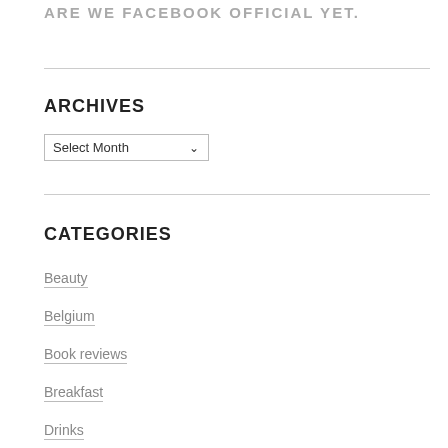ARE WE FACEBOOK OFFICIAL YET.
ARCHIVES
Select Month
CATEGORIES
Beauty
Belgium
Book reviews
Breakfast
Drinks
france